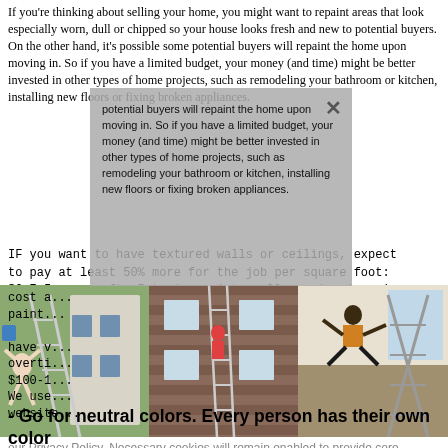If you're thinking about selling your home, you might want to repaint areas that look especially worn, dull or chipped so your house looks fresh and new to potential buyers. On the other hand, it's possible some potential buyers will repaint the home upon moving in. So if you have a limited budget, your money (and time) might be better invested in other types of home projects, such as remodeling your bathroom or kitchen, installing new floors or fixing broken appliances.
IF you want to have textured walls or ceilings, expect to pay at least 50% more for the job per square foot: $6-7.5 per sq.ft. Interior paint really varies in price and cu... in cost a... paint... that have v... overti... as $100-1...
We use... in our website... ite, howeve... the FreshB... Read our Privacy Policy. Necessary cookies will remain enabled to provide core functionality such as security, network management, and accessibility. You may disable these by changing your browser settings, but this may affect how the website functions.
[Figure (photo): Three photos side by side showing people doing dangerous activities on ladders while painting or working on houses]
- Go for neutral colors. Every person has their own color